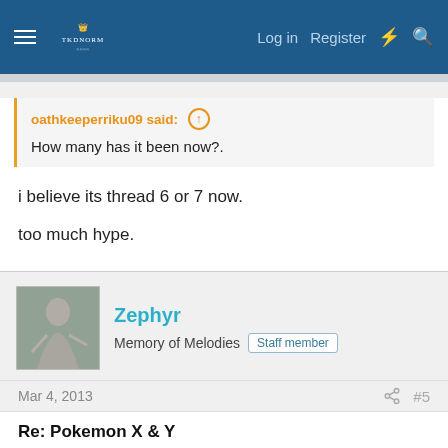Log in  Register
oathkeeperriku09 said: ↑
How many has it been now?.
i believe its thread 6 or 7 now.

too much hype.
Zephyr
Memory of Melodies  Staff member
Mar 4, 2013  #5
Re: Pokemon X & Y
Thanks Taochan for the cool gifs! I just hope getting Meloetta from Gamestop won't be a hassle. It's the only Pokemon I need.